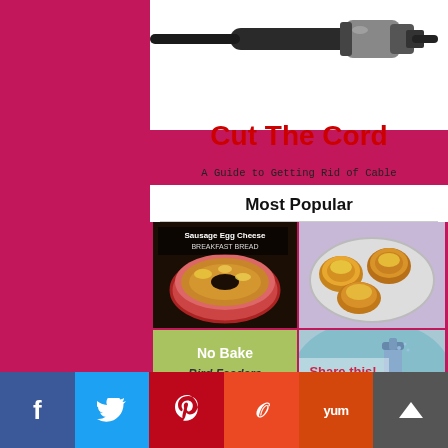[Figure (photo): Coaxial cable connector on white background]
Cut The Cord
A Guide to Getting Rid of Cable
Most Popular
[Figure (photo): Sausage Egg Cheese Breakfast Bread in a bundt pan]
[Figure (photo): Cheesy egg muffin cups on a plate]
[Figure (photo): No Bake Bird Feeders text on green background]
[Figure (photo): Share this - cleaning spray bottle image]